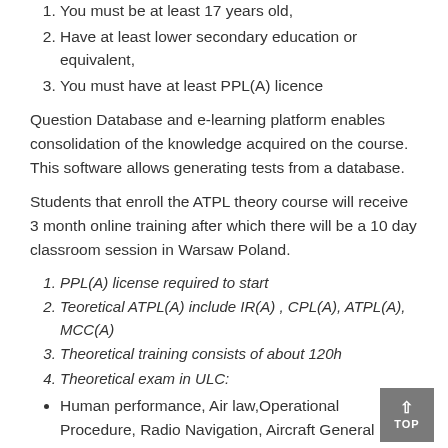You must be at least 17 years old,
Have at least lower secondary education or equivalent,
You must have at least PPL(A) licence
Question Database and e-learning platform enables consolidation of the knowledge acquired on the course. This software allows generating tests from a database.
Students that enroll the ATPL theory course will receive 3 month online training after which there will be a 10 day classroom session in Warsaw Poland.
PPL(A) license required to start
Teoretical ATPL(A) include IR(A) , CPL(A), ATPL(A), MCC(A)
Theoretical training consists of about 120h
Theoretical exam in ULC:
Human performance, Air law, Operational Procedure, Radio Navigation, Aircraft General